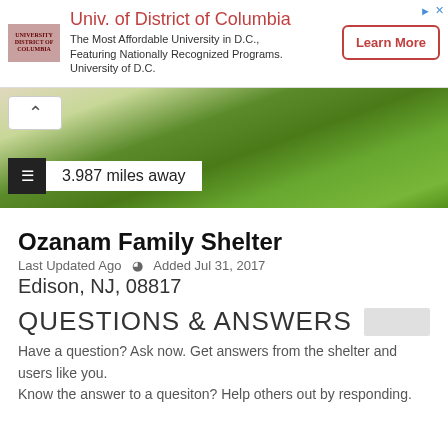[Figure (other): Advertisement banner for University of District of Columbia with logo, text, and Learn More button]
[Figure (photo): Green grass and stone path landscape photo used as map/location image with distance overlay showing 3.987 miles away]
Ozanam Family Shelter
Last Updated Ago  ◉  Added Jul 31, 2017
Edison, NJ, 08817
QUESTIONS & ANSWERS
Have a question? Ask now. Get answers from the shelter and users like you.
Know the answer to a quesiton? Help others out by responding.